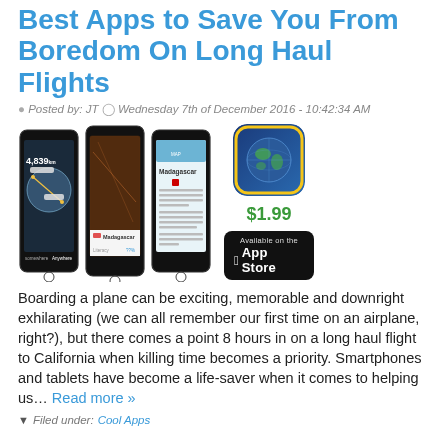Best Apps to Save You From Boredom On Long Haul Flights
Posted by: JT  Wednesday 7th of December 2016 - 10:42:34 AM
[Figure (photo): Three smartphone screenshots showing the National Geographic World Atlas app — globe view with 4,839 km distance, map view showing Madagascar route, and Madagascar article page. Next to the phones: National Geographic app icon, $1.99 price, and App Store download button.]
Boarding a plane can be exciting, memorable and downright exhilarating (we can all remember our first time on an airplane, right?), but there comes a point 8 hours in on a long haul flight to California when killing time becomes a priority. Smartphones and tablets have become a life-saver when it comes to helping us… Read more »
Filed under: Cool Apps